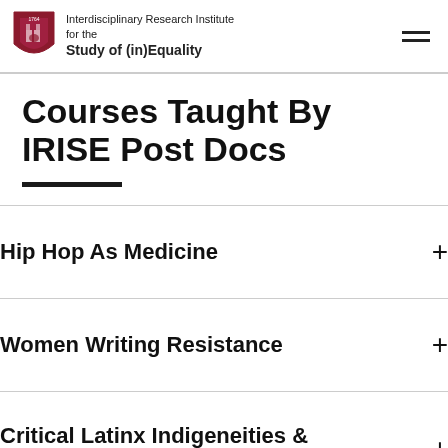Interdisciplinary Research Institute for the Study of (in)Equality
Courses Taught By IRISE Post Docs
Hip Hop As Medicine
Women Writing Resistance
Critical Latinx Indigeneities & Higher Education